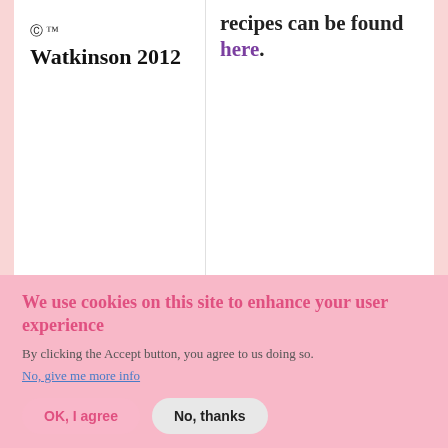© ™
Watkinson 2012
recipes can be found here.
[Figure (other): Follow me on bloglovin' button]
We use cookies on this site to enhance your user experience
By clicking the Accept button, you agree to us doing so.
No, give me more info
OK, I agree  No, thanks